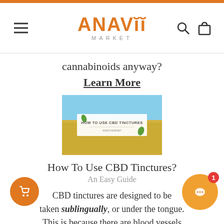ANAVII MARKET
cannabinoids anyway?
Learn More
[Figure (photo): Article thumbnail image showing a field of yellow flowers under a blue sky with overlay text 'HOW TO USE CBD TINCTURES']
How To Use CBD Tinctures?
An Easy Guide
CBD tinctures are designed to be taken sublingually, or under the tongue. This is because there are blood vessels under the tongue where cannabidiol can